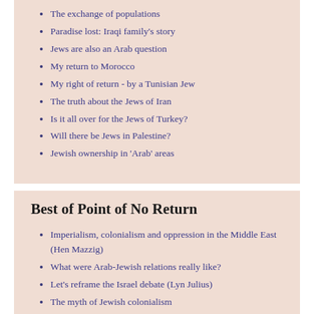The exchange of populations
Paradise lost: Iraqi family's story
Jews are also an Arab question
My return to Morocco
My right of return - by a Tunisian Jew
The truth about the Jews of Iran
Is it all over for the Jews of Turkey?
Will there be Jews in Palestine?
Jewish ownership in 'Arab' areas
Best of Point of No Return
Imperialism, colonialism and oppression in the Middle East (Hen Mazzig)
What were Arab-Jewish relations really like?
Let's reframe the Israel debate (Lyn Julius)
The myth of Jewish colonialism